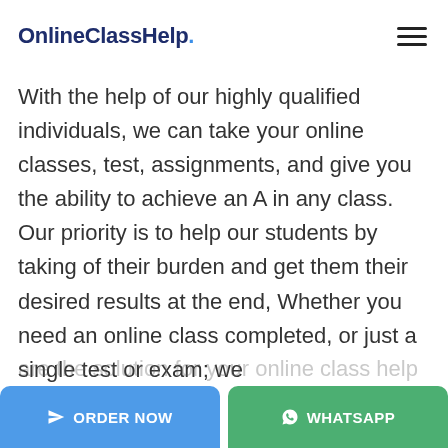OnlineClassHelp.
With the help of our highly qualified individuals, we can take your online classes, test, assignments, and give you the ability to achieve an A in any class. Our priority is to help our students by taking of their burden and get them their desired results at the end, Whether you need an online class completed, or just a single test or exam; we are the solution for your online class help